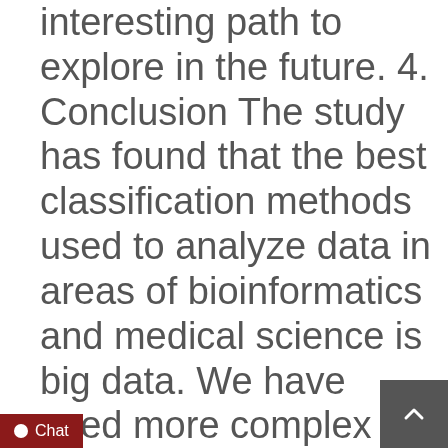interesting path to explore in the future. 4. Conclusion The study has found that the best classification methods used to analyze data in areas of bioinformatics and medical science is big data. We have used more complex chronic kidney diseases data sets with 25 attributes to analyze the performance of classification algorithms. We have used seven different classifiers namely to Support Vector Machine (SVM), logistic regression, J48, Decision Table, Naïve Bayes Classifier